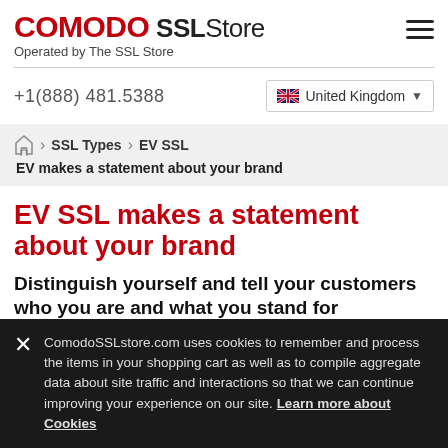COMODO SSL Store – Operated by The SSL Store
+1(888) 481.5388
United Kingdom
SSL Types › EV SSL
EV makes a statement about your brand
EV SSL makes a statement about your brand
Distinguish yourself and tell your customers who you are and what you stand for
More than anything, Extended Validation is about making a statement to
ComodoSSLstore.com uses cookies to remember and process the items in your shopping cart as well as to compile aggregate data about site traffic and interactions so that we can continue improving your experience on our site. Learn more about Cookies